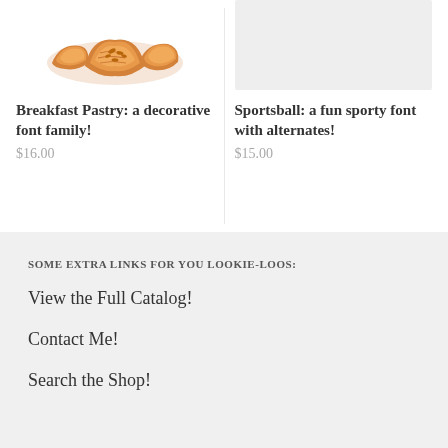[Figure (photo): Croissants/breakfast pastries product image]
Breakfast Pastry: a decorative font family!
$16.00
[Figure (photo): Sportsball font product image placeholder (light gray background)]
Sportsball: a fun sporty font with alternates!
$15.00
SOME EXTRA LINKS FOR YOU LOOKIE-LOOS:
View the Full Catalog!
Contact Me!
Search the Shop!